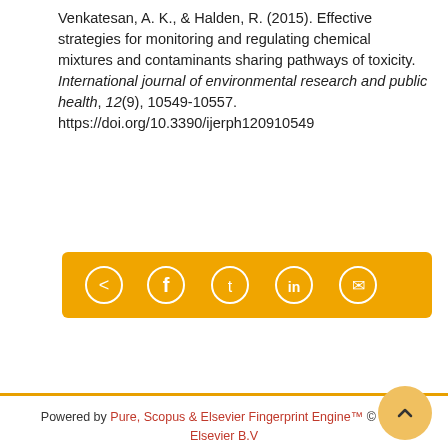Venkatesan, A. K., & Halden, R. (2015). Effective strategies for monitoring and regulating chemical mixtures and contaminants sharing pathways of toxicity. International journal of environmental research and public health, 12(9), 10549-10557. https://doi.org/10.3390/ijerph120910549
[Figure (other): Social share button bar with orange background containing share, Facebook, Twitter, LinkedIn, and email icons]
Powered by Pure, Scopus & Elsevier Fingerprint Engine™ © 2022 Elsevier B.V
We use cookies to help provide and enhance our service and tailor content. By continuing you agree to the use of cookies
Log in to Pure
About web accessibility
Contact us